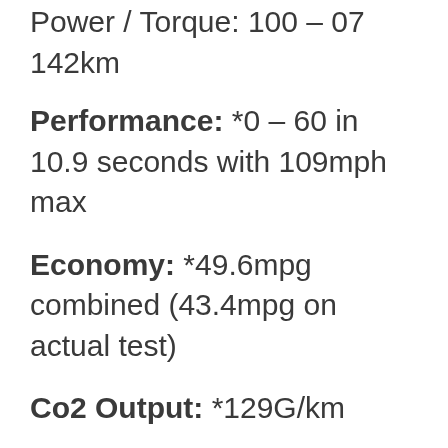Power / Torque: 100 – 07 142km
Performance: *0 – 60 in 10.9 seconds with 109mph max
Economy: *49.6mpg combined (43.4mpg on actual test)
Co2 Output: *129G/km
*=Govt or Manufacturers claimed data